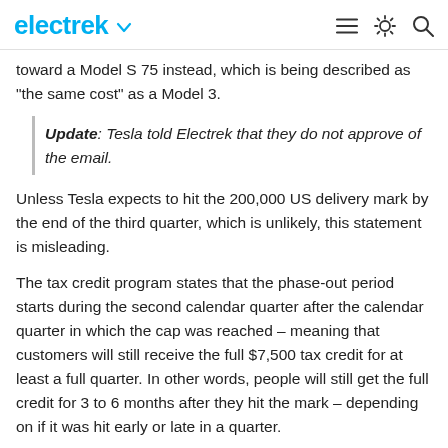electrek
toward a Model S 75 instead, which is being described as "the same cost" as a Model 3.
Update: Tesla told Electrek that they do not approve of the email.
Unless Tesla expects to hit the 200,000 US delivery mark by the end of the third quarter, which is unlikely, this statement is misleading.
The tax credit program states that the phase-out period starts during the second calendar quarter after the calendar quarter in which the cap was reached – meaning that customers will still receive the full $7,500 tax credit for at least a full quarter. In other words, people will still get the full credit for 3 to 6 months after they hit the mark – depending on if it was hit early or late in a quarter.
After that, the tax credit is reduced by 50% for 6 months and